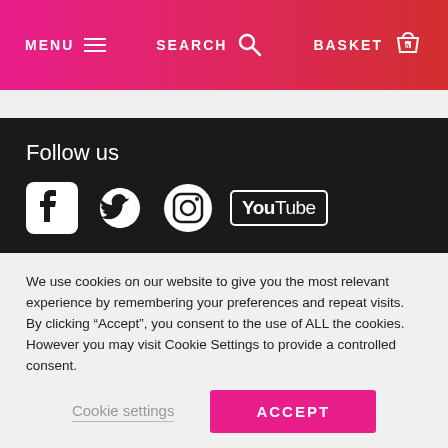MENU | SEARCH | BASKET 0
Follow us
[Figure (illustration): Social media icons: Facebook, Twitter, Instagram, YouTube]
Sign up for our newsletter
Sign up for 15% off your first order and be the first to hear about
We use cookies on our website to give you the most relevant experience by remembering your preferences and repeat visits. By clicking “Accept”, you consent to the use of ALL the cookies. However you may visit Cookie Settings to provide a controlled consent.
Cookie settings | ACCEPT